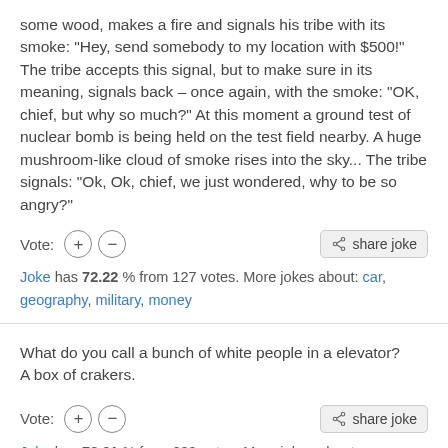some wood, makes a fire and signals his tribe with its smoke: "Hey, send somebody to my location with $500!" The tribe accepts this signal, but to make sure in its meaning, signals back – once again, with the smoke: "OK, chief, but why so much?" At this moment a ground test of nuclear bomb is being held on the test field nearby. A huge mushroom-like cloud of smoke rises into the sky... The tribe signals: "Ok, Ok, chief, we just wondered, why to be so angry?"
Vote: + - share joke
Joke has 72.22 % from 127 votes. More jokes about: car, geography, military, money
What do you call a bunch of white people in a elevator? A box of crakers.
Vote: + - share joke
Joke has 72.31 % from 689 votes. More jokes about: ...